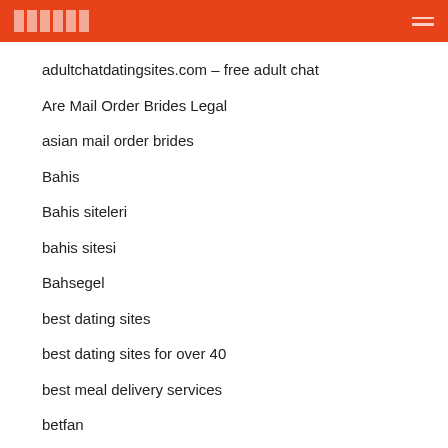█████
adultchatdatingsites.com – free adult chat
Are Mail Order Brides Legal
asian mail order brides
Bahis
Bahis siteleri
bahis sitesi
Bahsegel
best dating sites
best dating sites for over 40
best meal delivery services
betfan
Bettilt
Bettilt bahis
Bettilt giris